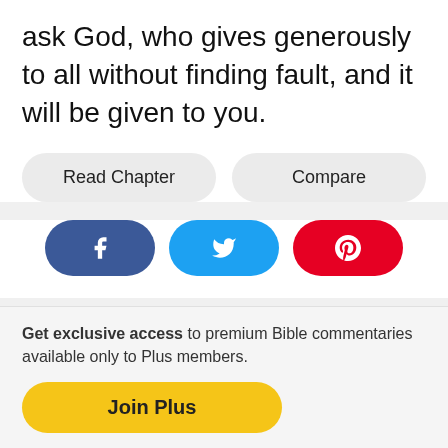ask God, who gives generously to all without finding fault, and it will be given to you.
Read Chapter
Compare
[Figure (other): Social share buttons: Facebook (dark blue), Twitter (light blue), Pinterest (red)]
Get exclusive access to premium Bible commentaries available only to Plus members.
Join Plus
PREVIOUS
NEXT